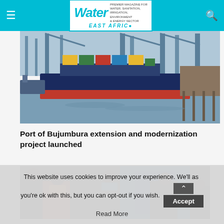Water East Africa — Premier Magazine for Water, Sanitation, Irrigation, Environment & Energy Sector
[Figure (photo): Large cargo ship docked at a busy port with cranes and shipping containers visible]
Port of Bujumbura extension and modernization project launched
[Figure (photo): Group of officials wearing face masks standing near a blue structure at a port]
This website uses cookies to improve your experience. We'll assume you're ok with this, but you can opt-out if you wish.
Read More